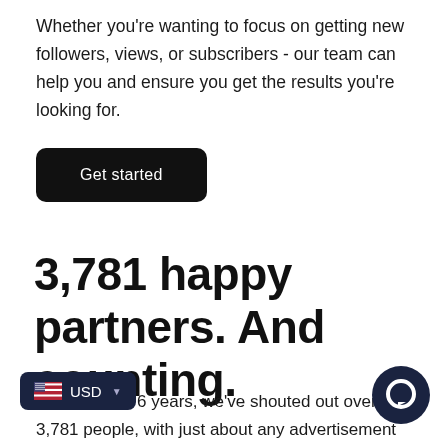Whether you're wanting to focus on getting new followers, views, or subscribers - our team can help you and ensure you get the results you're looking for.
Get started
3,781 happy partners. And counting.
Over the last 6 years, we've shouted out over 3,781 people, with just about any advertisement you can imagine. We've worked with large film studios and narrators, producers, online stores, OnlyFans creators, awareness campaigns, livecam performers and more. Many of our partners have gone